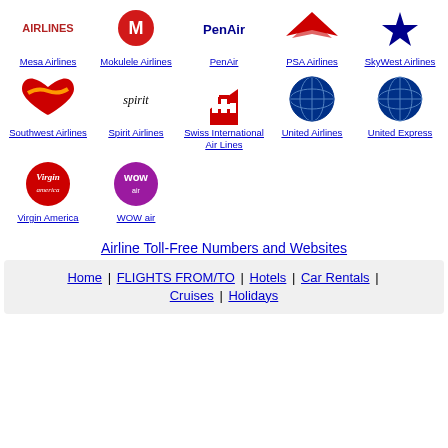[Figure (logo): Mesa Airlines logo (partial, top cropped)]
Mesa Airlines
[Figure (logo): Mokulele Airlines logo]
Mokulele Airlines
[Figure (logo): PenAir logo]
PenAir
[Figure (logo): PSA Airlines logo]
PSA Airlines
[Figure (logo): SkyWest Airlines logo]
SkyWest Airlines
[Figure (logo): Southwest Airlines heart logo]
Southwest Airlines
[Figure (logo): Spirit Airlines logo]
Spirit Airlines
[Figure (logo): Swiss International Air Lines logo]
Swiss International Air Lines
[Figure (logo): United Airlines globe logo]
United Airlines
[Figure (logo): United Express globe logo]
United Express
[Figure (logo): Virgin America logo]
Virgin America
[Figure (logo): WOW air logo]
WOW air
Airline Toll-Free Numbers and Websites
Home | FLIGHTS FROM/TO | Hotels | Car Rentals | Cruises | Holidays